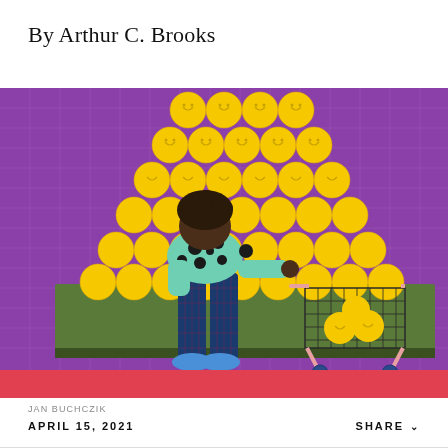By Arthur C. Brooks
[Figure (illustration): Illustration of a person wearing a teal polka-dot sweater and plaid pants, pushing a pink shopping cart and reaching toward a large pyramid display of yellow smiley face balls on a green shelf, against a purple grid-pattern background with a red stripe at the bottom. Illustrated by Jan Buchczik.]
JAN BUCHCZIK
APRIL 15, 2021
SHARE